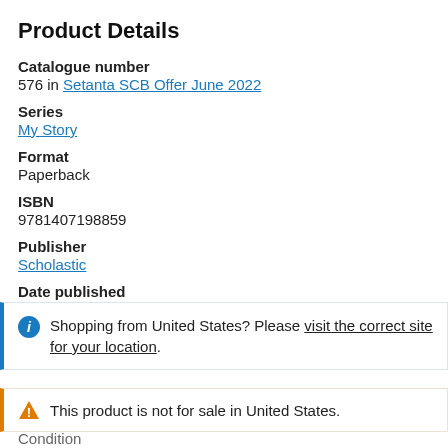Product Details
Catalogue number
576 in Setanta SCB Offer June 2022
Series
My Story
Format
Paperback
ISBN
9781407198859
Publisher
Scholastic
Date published
Shopping from United States? Please visit the correct site for your location.
This product is not for sale in United States.
Condition